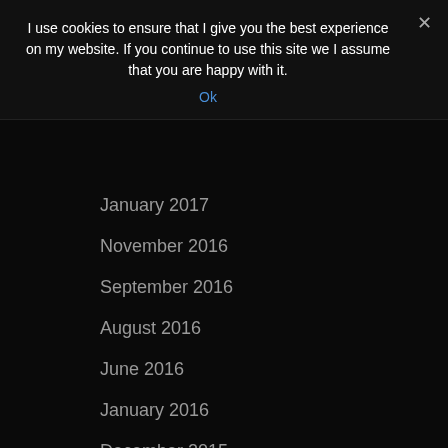I use cookies to ensure that I give you the best experience on my website. If you continue to use this site we I assume that you are happy with it.
Ok
January 2017
November 2016
September 2016
August 2016
June 2016
January 2016
December 2015
November 2015
October 2015